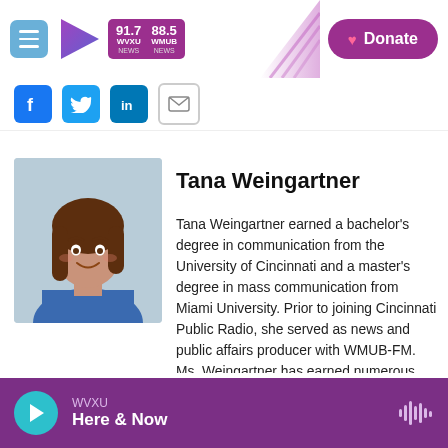WVXU 91.7 NEWS | WMUB 88.5 NEWS | Donate
[Figure (screenshot): Social share icons: Facebook, Twitter, LinkedIn, Email]
[Figure (photo): Headshot photo of Tana Weingartner, a woman with brown hair wearing a blue top]
Tana Weingartner
Tana Weingartner earned a bachelor's degree in communication from the University of Cincinnati and a master's degree in mass communication from Miami University. Prior to joining Cincinnati Public Radio, she served as news and public affairs producer with WMUB-FM. Ms. Weingartner has earned numerous awards for her reporting, including several Best Reporter awards
WVXU
Here & Now